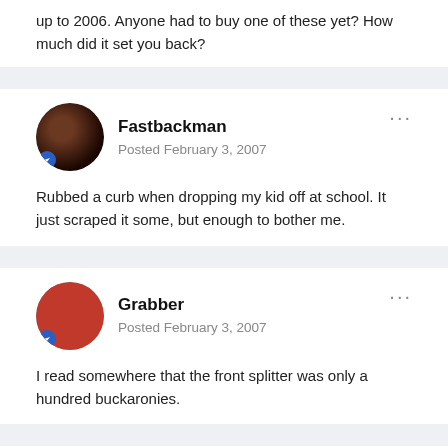up to 2006. Anyone had to buy one of these yet? How much did it set you back?
Fastbackman
Posted February 3, 2007
Rubbed a curb when dropping my kid off at school. It just scraped it some, but enough to bother me.
Grabber
Posted February 3, 2007
I read somewhere that the front splitter was only a hundred buckaronies.
cgoeschel